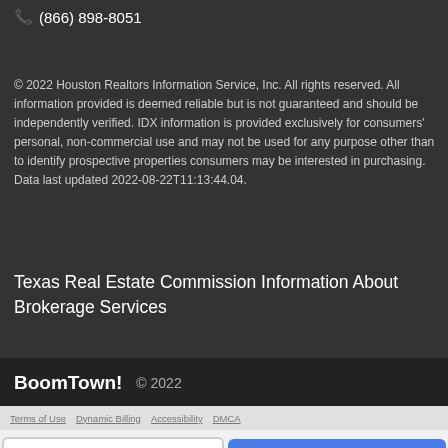📞 (866) 898-8051
© 2022 Houston Realtors Information Service, Inc. All rights reserved. All information provided is deemed reliable but is not guaranteed and should be independently verified. IDX information is provided exclusively for consumers' personal, non-commercial use and may not be used for any purpose other than to identify prospective properties consumers may be interested in purchasing. Data last updated 2022-08-22T11:13:44.04.
Texas Real Estate Commission Information About Brokerage Services
BoomTown! © 2022
Terms of Use · Dynamic Billing · Accessibility · DMCA
Take a Tour
Ask A Question